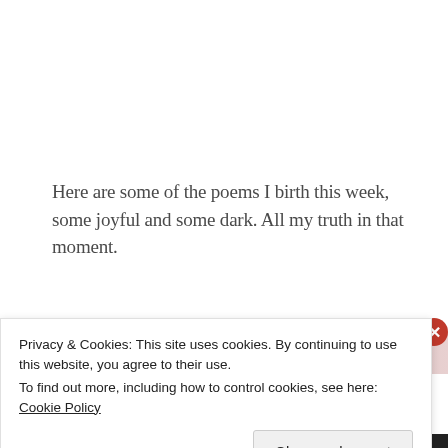Here are some of the poems I birth this week, some joyful and some dark. All my truth in that moment.
[Figure (photo): A horizontal image strip with gradient tones from dark gray to light pinkish, partially visible at the bottom of the page behind a cookie consent banner.]
Privacy & Cookies: This site uses cookies. By continuing to use this website, you agree to their use.
To find out more, including how to control cookies, see here: Cookie Policy